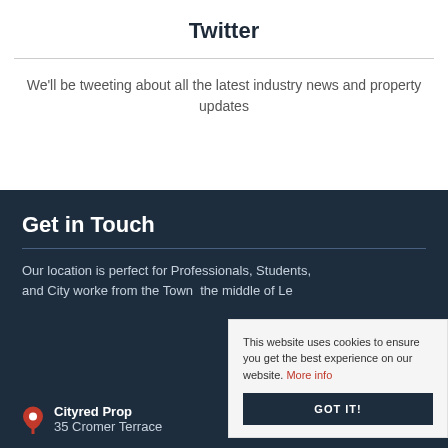Twitter
We'll be tweeting about all the latest industry news and property updates
Get in Touch
Our location is perfect for Professionals, Students, and City workers from the Town the middle of Le
Cityred Prop 35 Cromer Terrace
This website uses cookies to ensure you get the best experience on our website. More info
GOT IT!